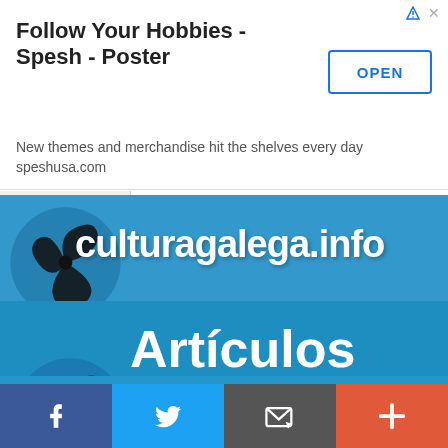[Figure (screenshot): Advertisement banner for 'Follow Your Hobbies - Spesh - Poster' with OPEN button, subtitle 'New themes and merchandise hit the shelves every day speshusa.com']
[Figure (logo): culturagalega.info website banner with triskelion logo on blue background]
[Figure (logo): Artículos Opinión section banner with triskelion logo on blue background]
[Figure (screenshot): www. partial text on blue background with triskelion logo]
[Figure (infographic): Social sharing bar with Facebook, Twitter, email/RSS, and plus buttons]